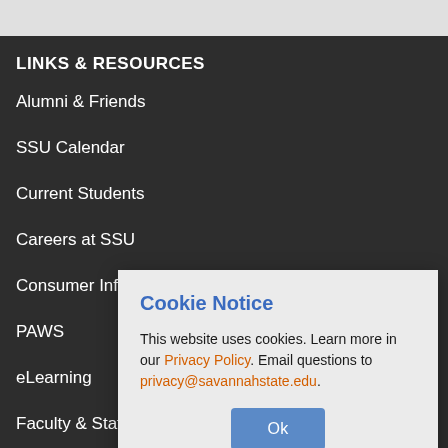LINKS & RESOURCES
Alumni & Friends
SSU Calendar
Current Students
Careers at SSU
Consumer Info
PAWS
eLearning
Faculty & Staff
Cookie Notice
This website uses cookies. Learn more in our Privacy Policy. Email questions to privacy@savannahstate.edu.